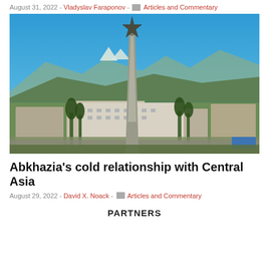August 31, 2022 - Vladyslav Faraponov - Articles and Commentary
[Figure (photo): Aerial view of a city with Soviet-era star monument in the foreground, mountains in the background, blue sky. Location appears to be Sukhumi, Abkhazia.]
Abkhazia’s cold relationship with Central Asia
August 29, 2022 - David X. Noack - Articles and Commentary
PARTNERS